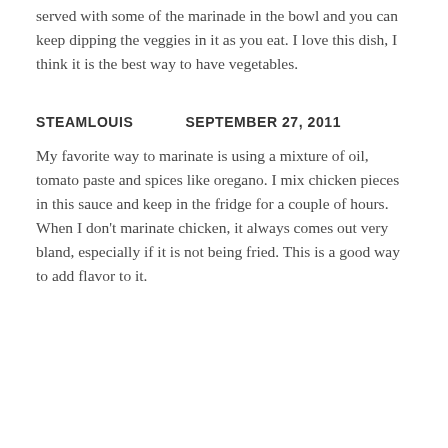served with some of the marinade in the bowl and you can keep dipping the veggies in it as you eat. I love this dish, I think it is the best way to have vegetables.
STEAMLOUIS        SEPTEMBER 27, 2011
My favorite way to marinate is using a mixture of oil, tomato paste and spices like oregano. I mix chicken pieces in this sauce and keep in the fridge for a couple of hours. When I don't marinate chicken, it always comes out very bland, especially if it is not being fried. This is a good way to add flavor to it.